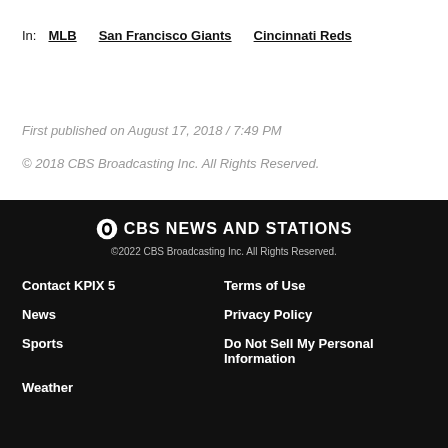In:   MLB   San Francisco Giants   Cincinnati Reds
First published on August 17, 2018 / 7:49 PM
© 2018 CBS Broadcasting Inc. All Rights Reserved.
©CBS NEWS AND STATIONS
©2022 CBS Broadcasting Inc. All Rights Reserved.
Contact KPIX 5   Terms of Use
News   Privacy Policy
Sports   Do Not Sell My Personal Information
Weather
Contact KPIX 5
Terms of Use
News
Privacy Policy
Sports
Do Not Sell My Personal Information
Weather